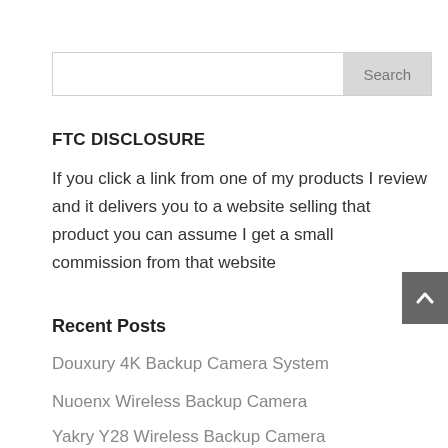[Figure (screenshot): Search bar with text input field and Search button]
FTC DISCLOSURE
If you click a link from one of my products I review and it delivers you to a website selling that product you can assume I get a small commission from that website
Recent Posts
Douxury 4K Backup Camera System
Nuoenx Wireless Backup Camera
Yakry Y28 Wireless Backup Camera